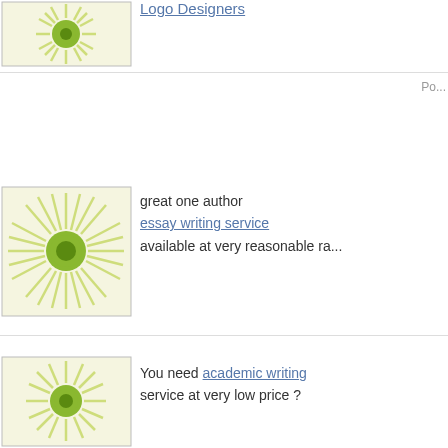[Figure (illustration): Green and white sunburst/dandelion circular logo avatar]
Logo Designers
Po...
[Figure (illustration): Green and white sunburst/dandelion circular logo avatar]
great one author
essay writing service
available at very reasonable ra...
[Figure (illustration): Green and white sunburst/dandelion circular logo avatar]
You need academic writing service at very low price ?
[Figure (illustration): Green/yellow crescent/arc web circular logo avatar]
Stiglitz has been doing a bit of... Nick Kristoff.
adattatore alimentatore | adatta... alimentatore Apple | adattatore Clevo | adattatore alimentatore alimentatore Lenovo | adattato...